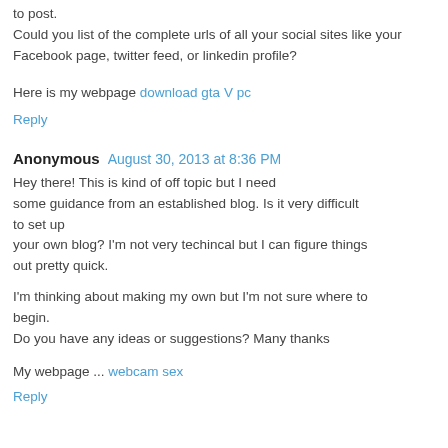to post. Could you list of the complete urls of all your social sites like your Facebook page, twitter feed, or linkedin profile?
Here is my webpage download gta V pc
Reply
Anonymous August 30, 2013 at 8:36 PM
Hey there! This is kind of off topic but I need some guidance from an established blog. Is it very difficult to set up your own blog? I'm not very techincal but I can figure things out pretty quick.
I'm thinking about making my own but I'm not sure where to begin. Do you have any ideas or suggestions? Many thanks
My webpage ... webcam sex
Reply